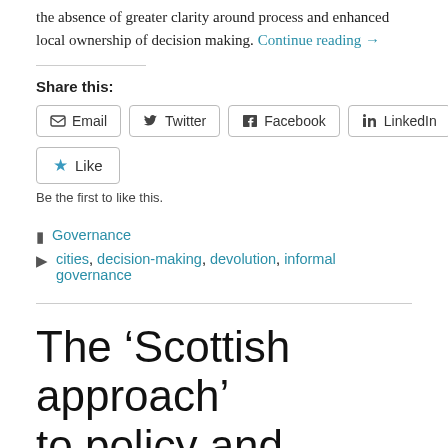the absence of greater clarity around process and enhanced local ownership of decision making. Continue reading →
Share this:
[Figure (other): Social share buttons: Email, Twitter, Facebook, LinkedIn]
[Figure (other): Like button with star icon]
Be the first to like this.
Governance
cities, decision-making, devolution, informal governance
The ‘Scottish approach’ to policy and